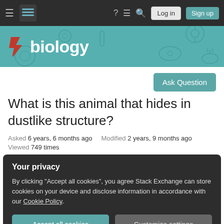Navigation bar with hamburger menu, Stack Exchange logo, help, chat, search icons, Log in and Sign up buttons
[Figure (logo): Biology Stack Exchange banner with teal background, biology icons, red lightning bolt arrow and 'biology' text in white]
Ask Question
What is this animal that hides in dustlike structure?
Asked 6 years, 6 months ago   Modified 2 years, 9 months ago
Viewed 749 times
Your privacy
By clicking "Accept all cookies", you agree Stack Exchange can store cookies on your device and disclose information in accordance with our Cookie Policy.
Accept all cookies   Customize settings
appeared in a couple of hours in the wall. Please,